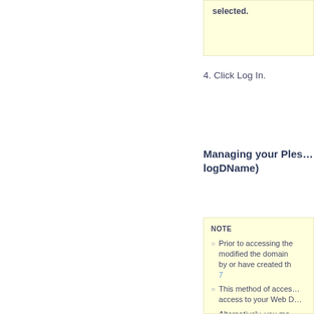selected.
4. Click Log In.
Managing your Ples… logDName)
NOTE
Prior to accessing the… modified the domain… by or have created th… 7
This method of acces… access to your Web D…
Alternatively, you ma… him/her. 8